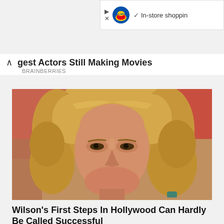[Figure (screenshot): Lidl ad banner with play/close icons, Lidl logo, checkmark and 'In-store shoppin' text]
gest Actors Still Making Movies
BRAINBERRIES
[Figure (photo): Close-up photo of a man with curly blonde hair looking slightly downward with a serious expression]
Wilson's First Steps In Hollywood Can Hardly Be Called Successful
BRAINBERRIES